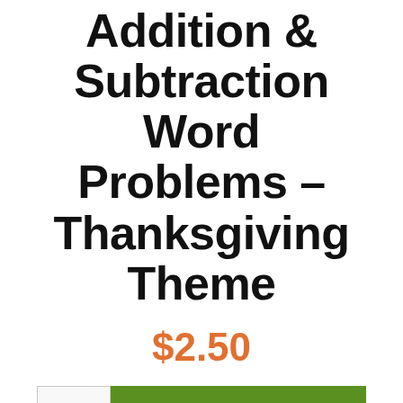Addition & Subtraction Word Problems – Thanksgiving Theme
$2.50
1  ADD TO CART
Do you use iPads, Chromebooks, or desktop